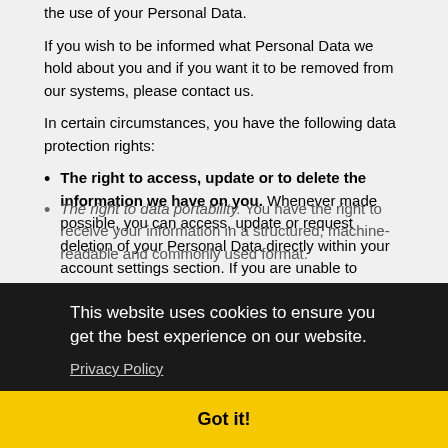the use of your Personal Data.
If you wish to be informed what Personal Data we hold about you and if you want it to be removed from our systems, please contact us.
In certain circumstances, you have the following data protection rights:
The right to access, update or to delete the information we have on you. Whenever made possible, you can access, update or request deletion of your Personal Data directly within your account settings section. If you are unable to perform these actions yourself, please contact us to assist you.
The right of rectification. You have the right to have your [information corrected...]
[...the right to data portability. You have the right to receive your information] in a structured, machine-readable and commonly used format.
This website uses cookies to ensure you get the best experience on our website.
Privacy Policy
Got it!